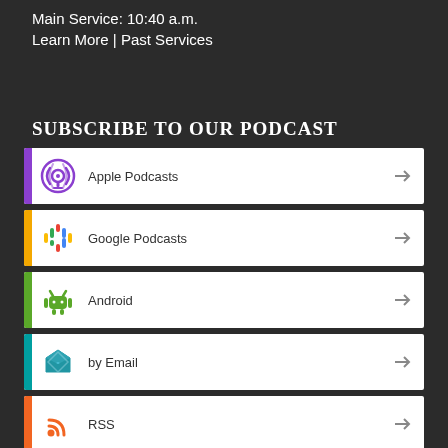Main Service: 10:40 a.m.
Learn More | Past Services
SUBSCRIBE TO OUR PODCAST
Apple Podcasts
Google Podcasts
Android
by Email
RSS